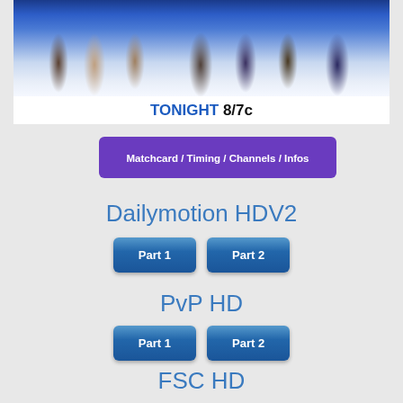[Figure (photo): WWE promotional image showing multiple wrestlers holding championship belts, with text 'TONIGHT 8/7c' at the bottom]
Matchcard / Timing / Channels / Infos
Dailymotion HDV2
Part 1
Part 2
PvP HD
Part 1
Part 2
FSC HD